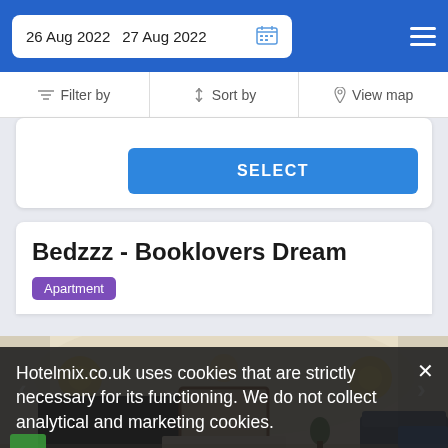26 Aug 2022  27 Aug 2022
Filter by   ↑↓ Sort by   View map
SELECT
Bedzzz - Booklovers Dream
Apartment
[Figure (photo): Interior room photo showing a living area with a large wall-mounted TV on the left, a fireplace with a mirror above it in the center, warm wall sconces on either side, and a sofa on the right side.]
Hotelmix.co.uk uses cookies that are strictly necessary for its functioning. We do not collect analytical and marketing cookies.